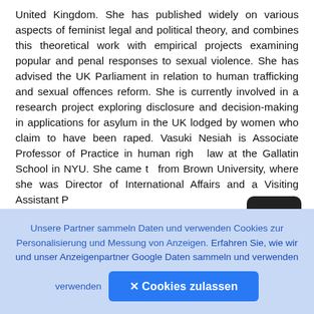United Kingdom. She has published widely on various aspects of feminist legal and political theory, and combines this theoretical work with empirical projects examining popular and penal responses to sexual violence. She has advised the UK Parliament in relation to human trafficking and sexual offences reform. She is currently involved in a research project exploring disclosure and decision-making in applications for asylum in the UK lodged by women who claim to have been raped. Vasuki Nesiah is Associate Professor of Practice in human rights law at the Gallatin School in NYU. She came to from Brown University, where she was Director of International Affairs and a Visiting Assistant Professor in International Relations and Social...
Unsere Partner sammeln Daten und verwenden Cookies zur Personalisierung und Messung von Anzeigen. Erfahren Sie, wie wir und unser Anzeigenpartner Google Daten sammeln und verwenden
✕ Cookies zulassen